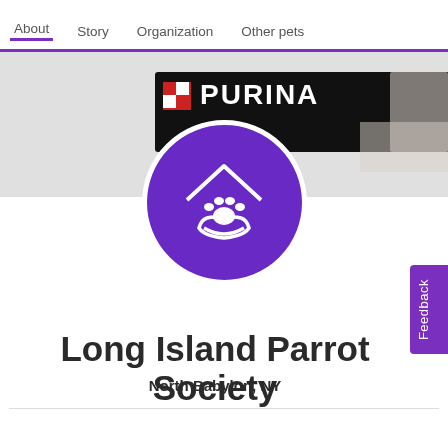About  Story  Organization  Other pets
[Figure (screenshot): Purina branded banner advertisement, partially visible, showing Purina logo with red checkerboard and a cat in background]
[Figure (logo): Purple circular logo with white icons of a house roof, paw print, and hand — representing a pet adoption/shelter organization]
Long Island Parrot Society
North Babylon, NY